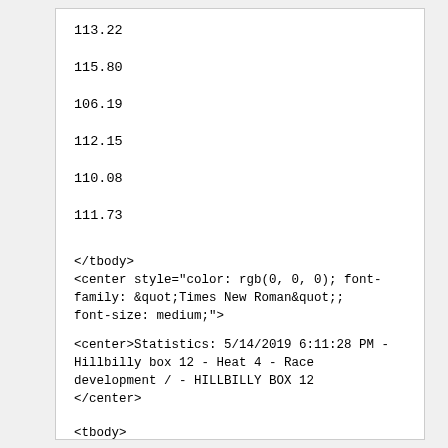113.22
115.80
106.19
112.15
110.08
111.73
</tbody>
<center style="color: rgb(0, 0, 0); font-family: &quot;Times New Roman&quot;; font-size: medium;">

<center>Statistics: 5/14/2019 6:11:28 PM - Hillbilly box 12 - Heat 4 - Race development / - HILLBILLY BOX 12
</center>
<tbody>
Pos
Driver